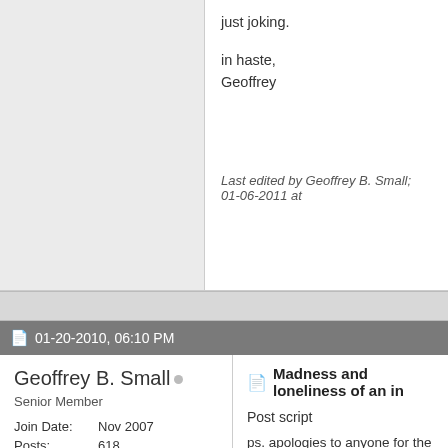just joking.
in haste,
Geoffrey
Last edited by Geoffrey B. Small; 01-06-2011 at
01-20-2010, 06:10 PM
Geoffrey B. Small
Senior Member
Join Date: Nov 2007
Posts: 618
Madness and loneliness of an in
Post script
ps. apologies to anyone for the brevity an fictitional purposes of the stressed out ar or persons or corporations or countries. W